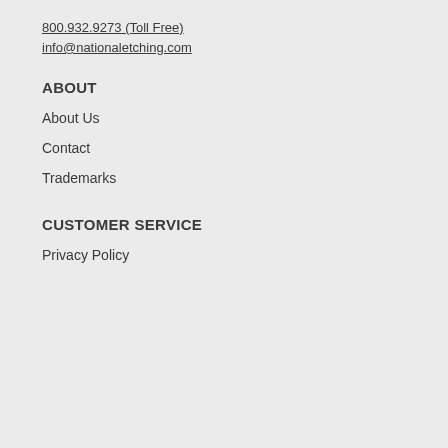800.932.9273 (Toll Free)
info@nationaletching.com
ABOUT
About Us
Contact
Trademarks
CUSTOMER SERVICE
Privacy Policy